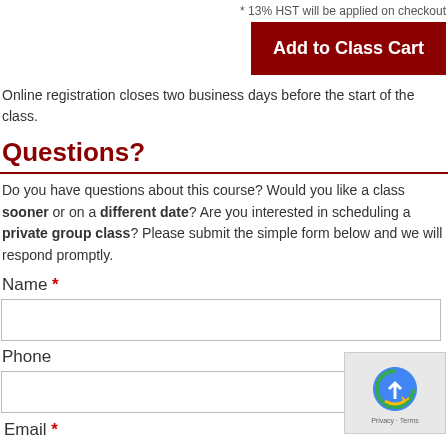* 13% HST will be applied on checkout
[Figure (other): Add to Class Cart button - dark red/maroon background with white bold text]
Online registration closes two business days before the start of the class.
Questions?
Do you have questions about this course? Would you like a class sooner or on a different date? Are you interested in scheduling a private group class? Please submit the simple form below and we will respond promptly.
Name *
[Figure (other): Text input field for Name]
Phone
[Figure (other): Text input field for Phone]
[Figure (other): reCAPTCHA widget with privacy and terms links]
Email *